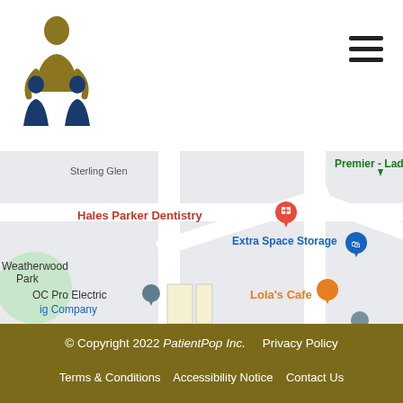[Figure (logo): Family healthcare logo with adult and children figures in gold and dark blue]
[Figure (map): Google Maps partial view showing Hales Parker Dentistry, Extra Space Storage, OC Pro Electric, Lola's Cafe, Weatherwood Park, Sterling Glen, Premier - Ladera locations]
© Copyright 2022 PatientPop Inc.    Privacy Policy    Terms & Conditions    Accessibility Notice    Contact Us